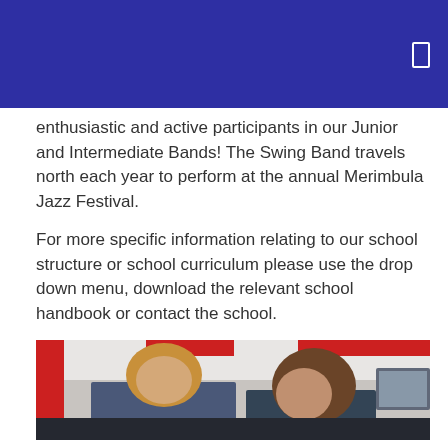enthusiastic and active participants in our Junior and Intermediate Bands! The Swing Band travels north each year to perform at the annual Merimbula Jazz Festival.
For more specific information relating to our school structure or school curriculum please use the drop down menu, download the relevant school handbook or contact the school.
[Figure (photo): Two people, an adult woman with blonde hair and a younger girl with brown hair, sitting together looking down at something in a classroom with red accents on the walls.]